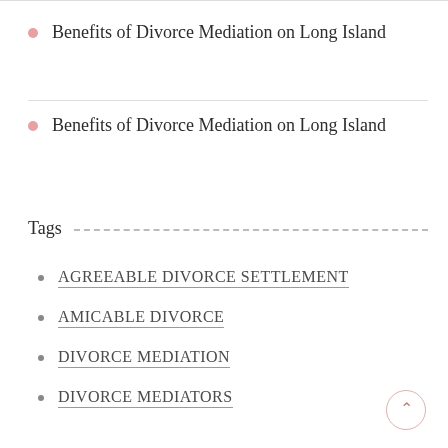Benefits of Divorce Mediation on Long Island
Benefits of Divorce Mediation on Long Island
Tags
AGREEABLE DIVORCE SETTLEMENT
AMICABLE DIVORCE
DIVORCE MEDIATION
DIVORCE MEDIATORS